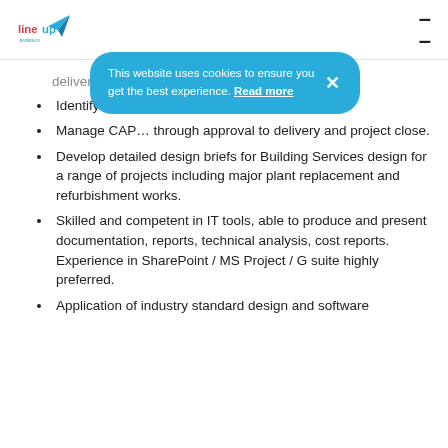lineup aviation
delivery plan…
Identify and …
Manage CAP… through approval to delivery and project close.
Develop detailed design briefs for Building Services design for a range of projects including major plant replacement and refurbishment works.
Skilled and competent in IT tools, able to produce and present documentation, reports, technical analysis, cost reports. Experience in SharePoint / MS Project / G suite highly preferred.
Application of industry standard design and software